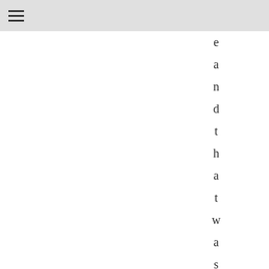e a n d t h a t w a s t h e w a y y